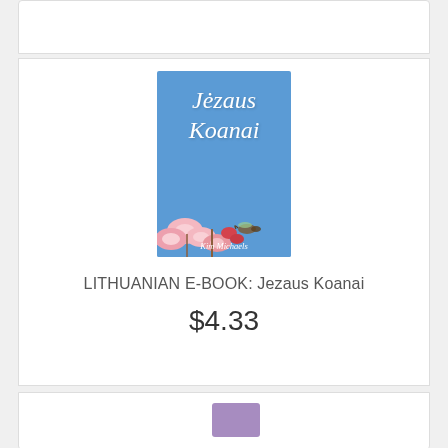[Figure (illustration): Book cover for 'Jezaus Koanai' by Kim Michaels. Blue background with large italic white cursive text reading 'Jezaus Koanai'. Pink cherry blossom flowers in lower left with a hummingbird. Author name 'Kim Michaels' at the bottom.]
LITHUANIAN E-BOOK: Jezaus Koanai
$4.33